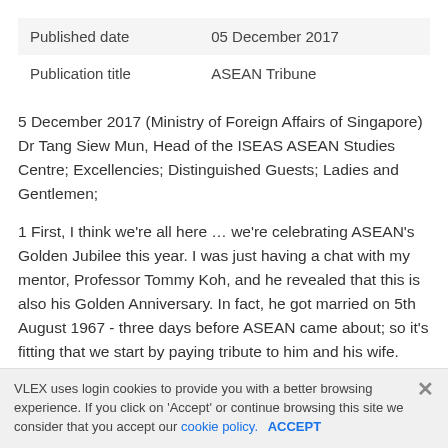|  |  |
| --- | --- |
| Published date | 05 December 2017 |
| Publication title | ASEAN Tribune |
5 December 2017 (Ministry of Foreign Affairs of Singapore) Dr Tang Siew Mun, Head of the ISEAS ASEAN Studies Centre; Excellencies; Distinguished Guests; Ladies and Gentlemen;
1 First, I think we're all here … we're celebrating ASEAN's Golden Jubilee this year. I was just having a chat with my mentor, Professor Tommy Koh, and he revealed that this is also his Golden Anniversary. In fact, he got married on 5th August 1967 - three days before ASEAN came about; so it's fitting that we start by paying tribute to him and his wife. Tommy, as you know, has been an incredible pillar of diplomacy and foreign policy, not only for
VLEX uses login cookies to provide you with a better browsing experience. If you click on 'Accept' or continue browsing this site we consider that you accept our cookie policy. ACCEPT